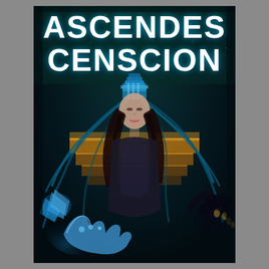[Figure (illustration): Book cover art: dark atmospheric fantasy illustration featuring a woman with closed eyes and an elaborate blue mechanical/organic headpiece with tentacle-like cables extending from her head. She wears dark clothing and floats centrally. Behind her is a golden/amber tiered structure resembling a piano or altar. In the lower left, a glowing blue ethereal hand reaches toward the viewer. In the lower right, a dark clawed creature hand with gold fingertips appears. Background is deep dark teal/black space with scattered stars. The overall palette is dark navy, teal, black with blue and amber accent lighting.]
ASCENDES CENSCION